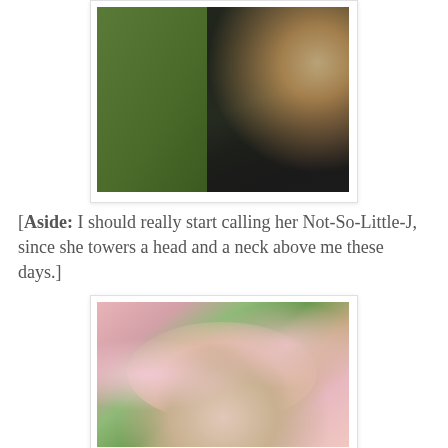[Figure (photo): A woman with curly blonde hair wearing a black strapless top, photographed from behind/side against a green grass background.]
[Aside: I should really start calling her Not-So-Little-J, since she towers a head and a neck above me these days.]
[Figure (photo): A smiling woman with red lipstick and blonde hair, peeking through pink flowering rose bushes.]